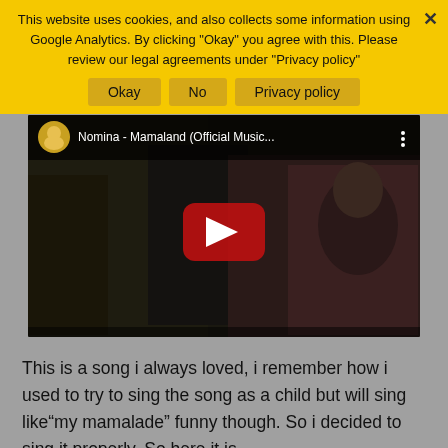This website uses cookies, and also collects some information using Google Analytics. By clicking "Okay" you agree with this. Please review our legal agreements under "Privacy policy"
[Figure (screenshot): YouTube embedded video player showing Nomina - Mamaland (Official Music...) with a dark nature background and a red play button in the center. Channel icon visible at top left with title text.]
This is a song i always loved, i remember how i used to try to sing the song as a child but will sing like“my mamalade” funny though. So i decided to sing it properly. So here it is